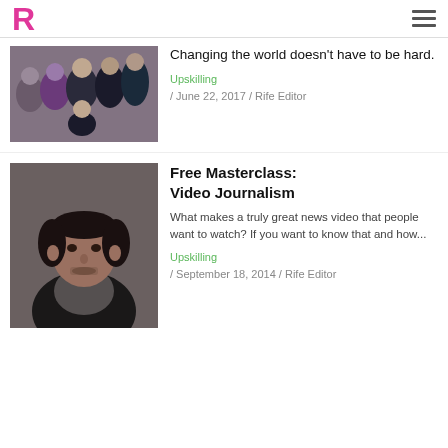R (Rife Magazine logo) / hamburger menu
[Figure (photo): Group photo of people standing indoors, one sitting in front center]
Changing the world doesn't have to be hard.
Upskilling / June 22, 2017 / Rife Editor
[Figure (photo): Portrait photo of a man looking at the camera, wearing a dark jacket]
Free Masterclass: Video Journalism
What makes a truly great news video that people want to watch? If you want to know that and how...
Upskilling / September 18, 2014 / Rife Editor